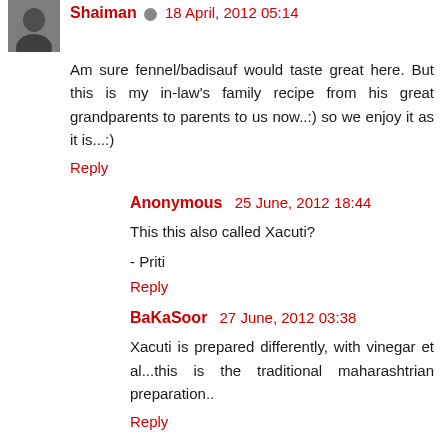Shaiman 18 April, 2012 05:14
Am sure fennel/badisauf would taste great here. But this is my in-law's family recipe from his great grandparents to parents to us now..:) so we enjoy it as it is...:)
Reply
Anonymous 25 June, 2012 18:44
This this also called Xacuti?
- Priti
Reply
BaKaSoor 27 June, 2012 03:38
Xacuti is prepared differently, with vinegar et al...this is the traditional maharashtrian preparation..
Reply